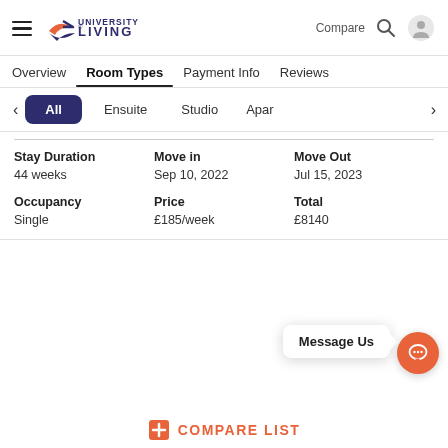[Figure (logo): University Living logo with hamburger menu icon on left]
Compare  🔍  👤
Overview   Room Types   Payment Info   Reviews
All   Ensuite   Studio   Apar
| Stay Duration | Move in | Move Out |
| --- | --- | --- |
| 44 weeks | Sep 10, 2022 | Jul 15, 2023 |
| Occupancy | Price | Total |
| --- | --- | --- |
| Single | £185/week | £8140 |
Message Us
COMPARE LIST